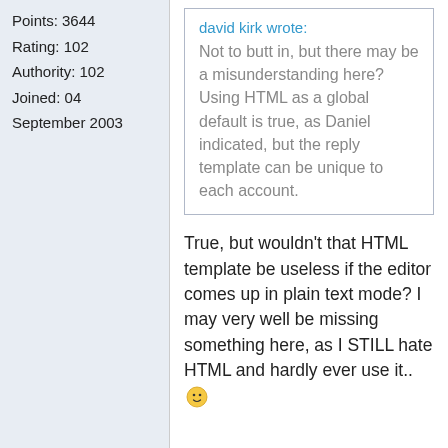Points: 3644
Rating: 102
Authority: 102
Joined: 04 September 2003
david kirk wrote:
Not to butt in, but there may be a misunderstanding here? Using HTML as a global default is true, as Daniel indicated, but the reply template can be unique to each account.
True, but wouldn't that HTML template be useless if the editor comes up in plain text mode? I may very well be missing something here, as I STILL hate HTML and hardly ever use it.. 🙂